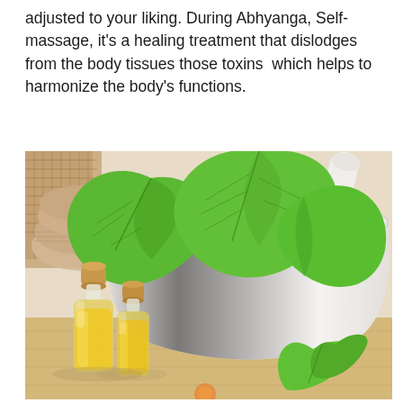adjusted to your liking. During Abhyanga, Self-massage, it's a healing treatment that dislodges from the body tissues those toxins  which helps to harmonize the body's functions.
[Figure (photo): A white mortar and pestle with fresh green basil leaves, surrounded by two small glass bottles with cork stoppers containing golden yellow essential oil, placed on a wooden surface with a woven fabric in the background.]